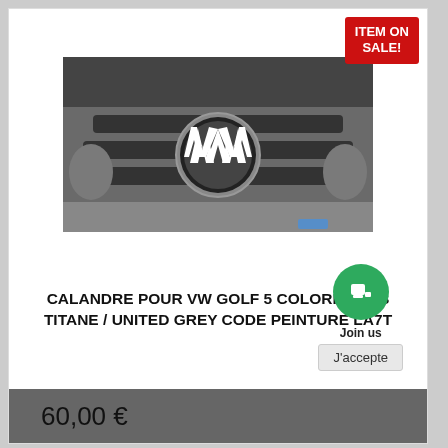[Figure (photo): Photo of a Volkswagen Golf 5 front grille in grey/titanium color showing the VW logo badge]
CALANDRE POUR VW GOLF 5 COLORIS GRIS TITANE / UNITED GREY CODE PEINTURE LA7T
60,00 €